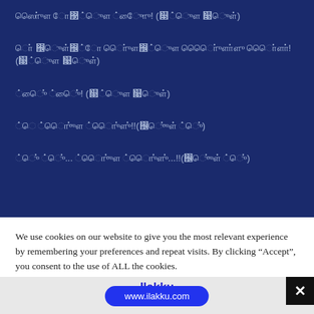[Tamil text line 1] (Tamil text)
[Tamil text line 2]!(Tamil text)
[Tamil text line 3]! (Tamil text)
[Tamil text line 4]!!(Tamil text)
[Tamil text line 5]...!!(Tamil text)
We use cookies on our website to give you the most relevant experience by remembering your preferences and repeat visits. By clicking “Accept”, you consent to the use of ALL the cookies.
Ilakku
www.ilakku.com